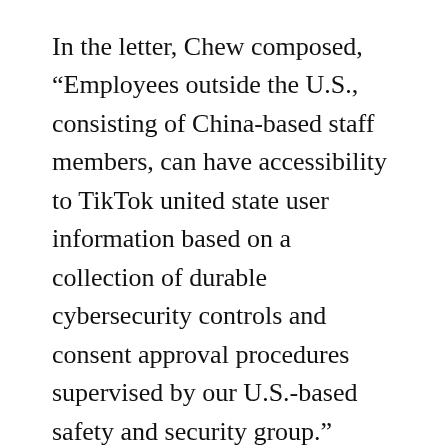In the letter, Chew composed, “Employees outside the U.S., consisting of China-based staff members, can have accessibility to TikTok united state user information based on a collection of durable cybersecurity controls and consent approval procedures supervised by our U.S.-based safety and security group.” TikTok identifies data based upon its level of sensitivity, as well as it increases the degree of required authorization relying on the sensitivity.
Specific nonsensitive information, such as public video clips and remarks, which come to any kind of customer throughout the globe, will be accessible to workers not based in the